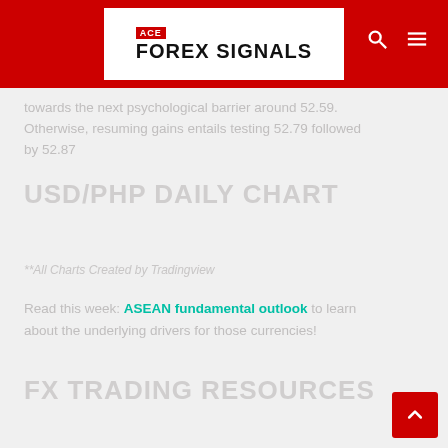ACE FOREX SIGNALS
towards the next psychological barrier around 52.59. Otherwise, resuming gains entails testing 52.79 followed by 52.87
USD/PHP DAILY CHART
**All Charts Created by Tradingview
Read this week: ASEAN fundamental outlook to learn about the underlying drivers for those currencies!
FX TRADING RESOURCES